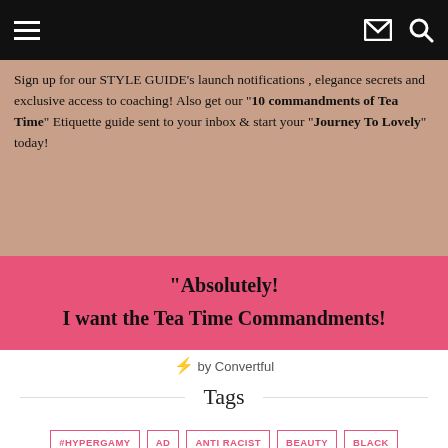Navigation header with hamburger menu, mail icon, and search icon
Sign up for our STYLE GUIDE's launch notifications , elegance secrets and exclusive access to coaching! Also get our "10 commandments of Tea Time" Etiquette guide sent to your inbox & start your "Journey To Lovely" today!
"Absolutely!

I want the Tea Time Commandments!"
⚡ by Convertful
Tags
#HYPERGAMY
AD
ANTI RACIST
BEAUTY
BLACK
BLACK FEMININITY
BLACK LIVES MATTER
BLACK WOMEN
BLM
BLOGGER
CHIC
CLASSY
CLASSY LADY
CORONAVIRUS